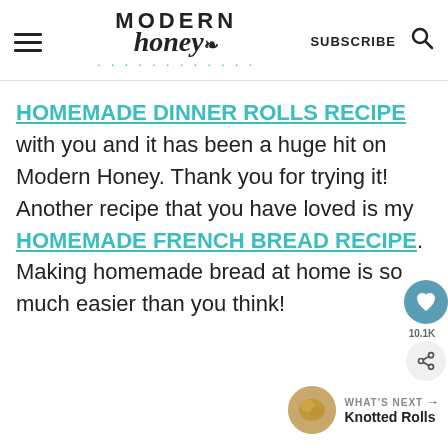Modern Honey — SUBSCRIBE
HOMEMADE DINNER ROLLS RECIPE with you and it has been a huge hit on Modern Honey. Thank you for trying it! Another recipe that you have loved is my HOMEMADE FRENCH BREAD RECIPE. Making homemade bread at home is so much easier than you think!